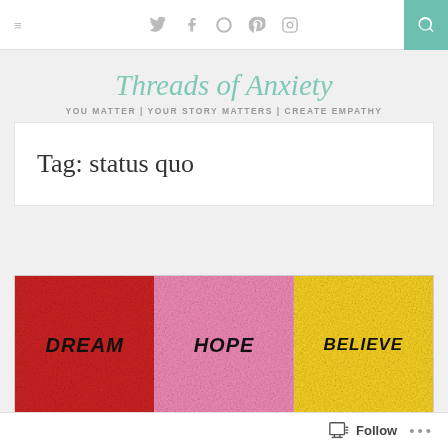≡  Twitter  Facebook  WordPress  Pinterest  Instagram  [Search]
Threads of Anxiety
YOU MATTER | YOUR STORY MATTERS | CREATE EMPATHY
Tag: status quo
[Figure (photo): Three crumpled paper squares side by side: red with 'DREAM', pink with 'HOPE', yellow with 'BELIEVE' written in bold black text]
Follow  ...